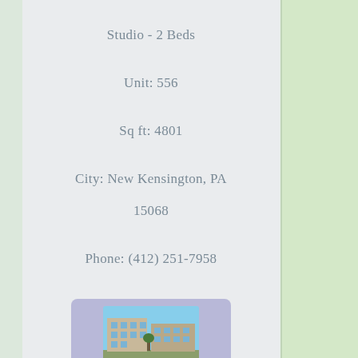Studio - 2 Beds
Unit: 556
Sq ft: 4801
City: New Kensington, PA
15068
Phone: (412) 251-7958
[Figure (photo): Small thumbnail photo of a residential building/apartment complex]